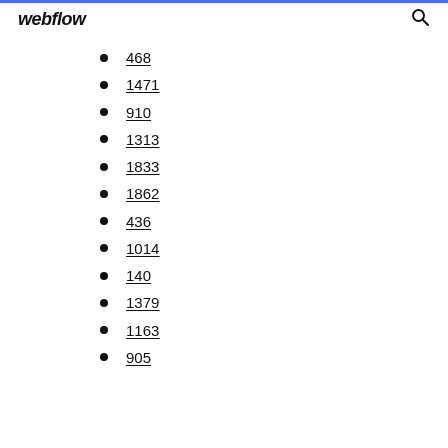webflow
468
1471
910
1313
1833
1862
436
1014
140
1379
1163
905